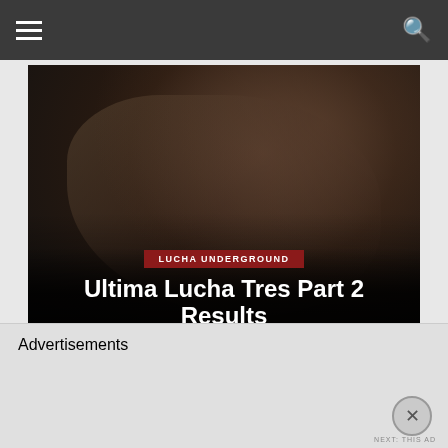[Figure (photo): Wrestling action photo showing two fighters in a ring, one inverted/being slammed, with blood visible. Dark arena background with crowd.]
LUCHA UNDERGROUND
Ultima Lucha Tres Part 2 Results
JOSH LOPEZ · OCTOBER 4, 2017
[Figure (photo): Wrestling match photo showing fighters grappling, with 'TONIGHT' text visible in gold letters on the right side of the image.]
Advertisements
NEXT: THIS AD